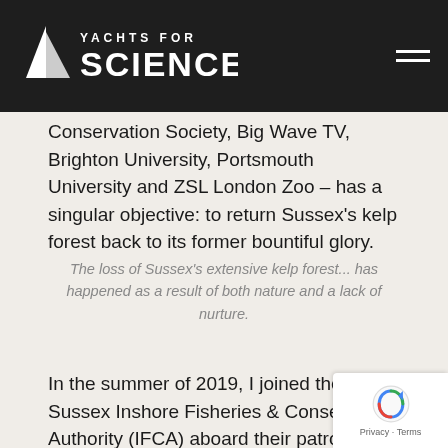YACHTS FOR SCIENCE
Conservation Society, Big Wave TV, Brighton University, Portsmouth University and ZSL London Zoo – has a singular objective: to return Sussex's kelp forest back to its former bountiful glory.
The loss of Sussex's extensive kelp forest... has happened as a result of both nature and a lack of nurture.
In the summer of 2019, I joined the Sussex Inshore Fisheries & Conservation Authority (IFCA) aboard their patrol vessel Watchful for a